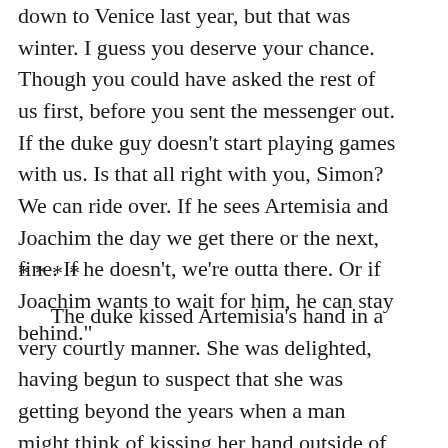down to Venice last year, but that was winter. I guess you deserve your chance. Though you could have asked the rest of us first, before you sent the messenger out. If the duke guy doesn't start playing games with us. Is that all right with you, Simon? We can ride over. If he sees Artemisia and Joachim the day we get there or the next, fine. If he doesn't, we're outta there. Or if Joachim wants to wait for him, he can stay behind."
****
The duke kissed Artemisia's hand in a very courtly manner. She was delighted, having begun to suspect that she was getting beyond the years when a man might think of kissing her hand outside of a formal public reception.